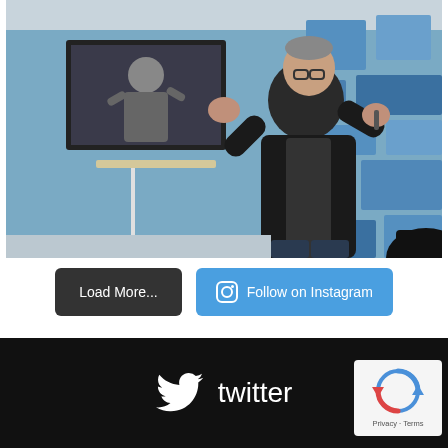[Figure (photo): A man in a dark blazer speaking on a stage with blue geometric block decor, gesturing with both hands raised. A lectern/podium is visible to his left. A screen in the background shows another image of him. A dark silhouette is visible at the bottom right foreground.]
Load More...
Follow on Instagram
twitter
[Figure (logo): reCAPTCHA badge with spinning arrows logo and Privacy - Terms links]